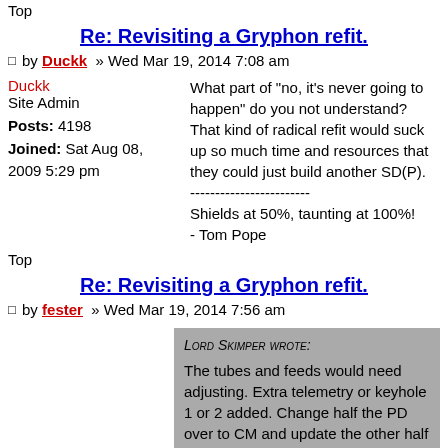Top
Re: Revisiting a Gryphon refit.
□ by Duckk » Wed Mar 19, 2014 7:08 am
Duckk
Site Admin

Posts: 4198
Joined: Sat Aug 08, 2009 5:29 pm
What part of "no, it's never going to happen" do you not understand? That kind of radical refit would suck up so much time and resources that they could just build another SD(P).
------------------------
Shields at 50%, taunting at 100%!
- Tom Pope
Top
Re: Revisiting a Gryphon refit.
□ by fester » Wed Mar 19, 2014 7:56 am
Lord Skimper wrote:
The tubes and feeds would need adjusting. Extra telemetry or keyhole 1 or 2 added. Change half the PD over to CM and update the other half to more modern PD with the